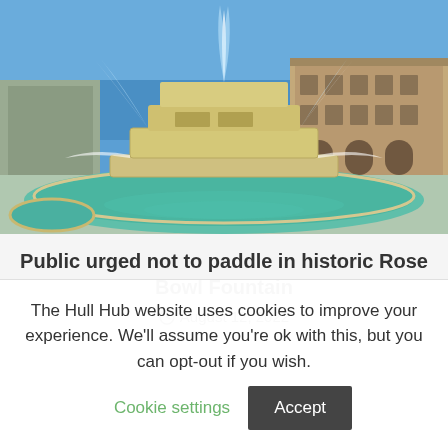[Figure (photo): Outdoor photograph of the Rose Bowl Fountain in Hull, showing a large stone fountain with multiple jets of water spraying upward against a clear blue sky, with brick buildings visible in the background and turquoise water in the basin.]
Public urged not to paddle in historic Rose Bowl Fountain
August 12, 2022
The Hull Hub website uses cookies to improve your experience. We'll assume you're ok with this, but you can opt-out if you wish. Cookie settings Accept